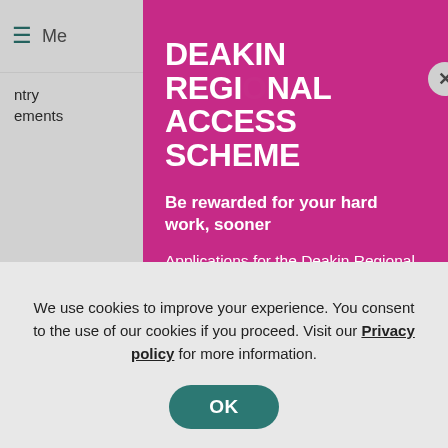DEAKIN REGIONAL ACCESS SCHEME
Be rewarded for your hard work, sooner
Applications for the Deakin Regional Access Scheme are now open for this course. No matter where you live, you could secure an early offer long before ATARs are released.
We use cookies to improve your experience. You consent to the use of our cookies if you proceed. Visit our Privacy policy for more information.